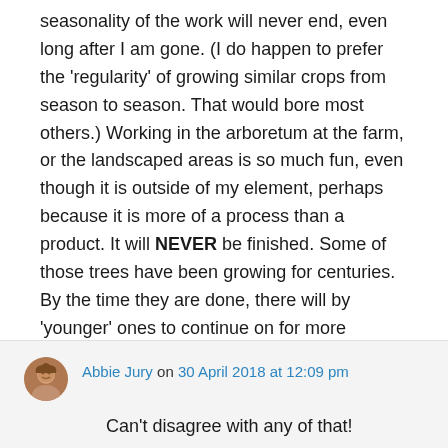seasonality of the work will never end, even long after I am gone. (I do happen to prefer the 'regularity' of growing similar crops from season to season. That would bore most others.) Working in the arboretum at the farm, or the landscaped areas is so much fun, even though it is outside of my element, perhaps because it is more of a process than a product. It will NEVER be finished. Some of those trees have been growing for centuries. By the time they are done, there will by 'younger' ones to continue on for more centuries!
Abbie Jury on 30 April 2018 at 12:09 pm
Can't disagree with any of that!